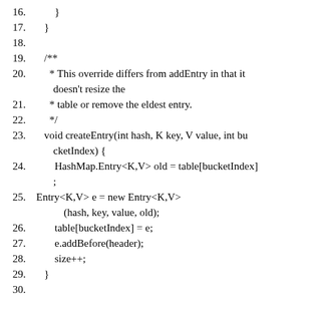16.         }
17.     }
18.
19.     /**
20.       * This override differs from addEntry in that it doesn't resize the
21.       * table or remove the eldest entry.
22.       */
23.     void createEntry(int hash, K key, V value, int bucketIndex) {
24.         HashMap.Entry<K,V> old = table[bucketIndex];
25. Entry<K,V> e = new Entry<K,V>(hash, key, value, old);
26.         table[bucketIndex] = e;
27.         e.addBefore(header);
28.         size++;
29.     }
30.